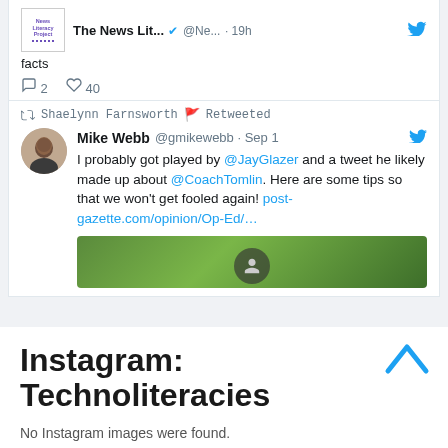[Figure (screenshot): Tweet from The News Literacy Project (@Ne...) posted 19h ago. Text: 'facts'. Shows reply count 2 and like count 40.]
[Figure (screenshot): Retweeted tweet from Mike Webb @gmikewebb Sep 1. Text: 'I probably got played by @JayGlazer and a tweet he likely made up about @CoachTomlin. Here are some tips so that we won't get fooled again! post-gazette.com/opinion/Op-Ed/...' with a photo preview.]
Instagram: Technoliteracies
No Instagram images were found.